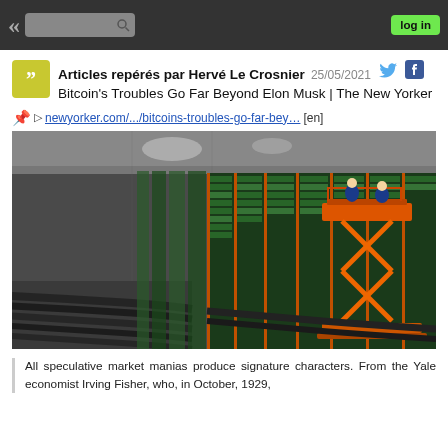« [search] log in
Articles repérés par Hervé Le Crosnier  25/05/2021
Bitcoin's Troubles Go Far Beyond Elon Musk | The New Yorker
📌 ▷ newyorker.com/.../bitcoins-troubles-go-far-bey… [en]
[Figure (photo): Large warehouse filled with rows of cryptocurrency mining hardware racks; an orange scissor lift with two workers in blue overalls is raised on the right side among the racks. Heavy power cables run along the floor on the left.]
All speculative market manias produce signature characters. From the Yale economist Irving Fisher, who, in October, 1929,